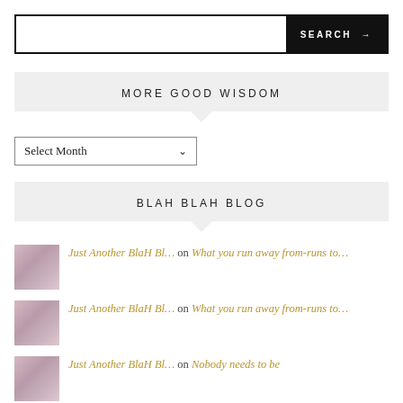[Figure (screenshot): Search bar with text input and black SEARCH button with arrow]
MORE GOOD WISDOM
[Figure (screenshot): Select Month dropdown]
BLAH BLAH BLOG
Just Another BlaH Bl… on What you run away from-runs to…
Just Another BlaH Bl… on What you run away from-runs to…
Just Another BlaH Bl… on Nobody needs to be